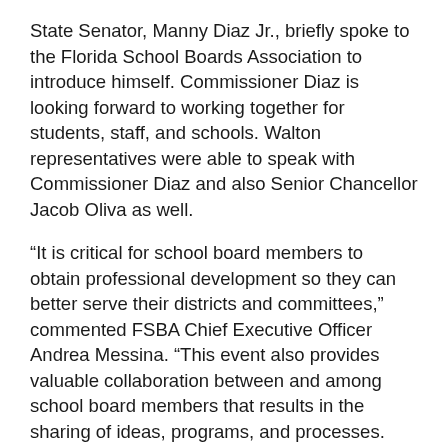State Senator, Manny Diaz Jr., briefly spoke to the Florida School Boards Association to introduce himself. Commissioner Diaz is looking forward to working together for students, staff, and schools. Walton representatives were able to speak with Commissioner Diaz and also Senior Chancellor Jacob Oliva as well.
“It is critical for school board members to obtain professional development so they can better serve their districts and committees,” commented FSBA Chief Executive Officer Andrea Messina. “This event also provides valuable collaboration between and among school board members that results in the sharing of ideas, programs, and processes. Board members took seriously this year’s theme, Centered on Students, and spent time seeking ways to ensure all students learn at high levels.”
Superintendent Hughes also echoed the importance of collaboration. “I appreciate time